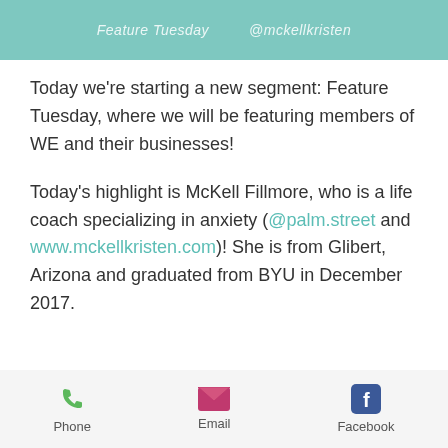[Figure (other): Teal/green navigation bar with blurred text labels]
Today we're starting a new segment: Feature Tuesday, where we will be featuring members of WE and their businesses!
Today's highlight is McKell Fillmore, who is a life coach specializing in anxiety (@palm.street and www.mckellkristen.com)! She is from Glibert, Arizona and graduated from BYU in December 2017.
[Figure (infographic): Footer bar with Phone, Email, and Facebook contact icons and labels]